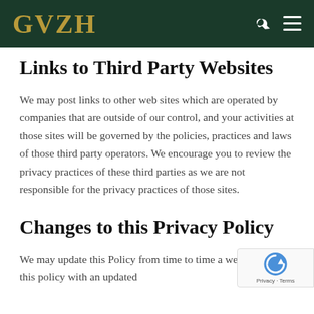GVZH
Links to Third Party Websites
We may post links to other web sites which are operated by companies that are outside of our control, and your activities at those sites will be governed by the policies, practices and laws of those third party operators. We encourage you to review the privacy practices of these third parties as we are not responsible for the privacy practices of those sites.
Changes to this Privacy Policy
We may update this Policy from time to time a we will replace this policy with an updated